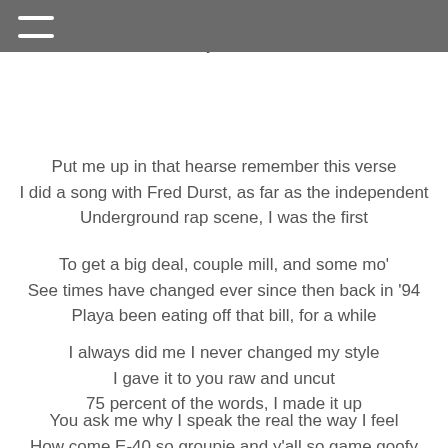≡
I've been a hustler since birth
So when they haul me off and
Put me up in that hearse remember this verse
I did a song with Fred Durst, as far as the independent
Underground rap scene, I was the first
To get a big deal, couple mill, and some mo'
See times have changed ever since then back in '94
Playa been eating off that bill, for a while
I always did me I never changed my style
I gave it to you raw and uncut
75 percent of the words, I made it up
You ask me why I speak the real the way I feel
How come E-40 so groupie and y'all so game goofy